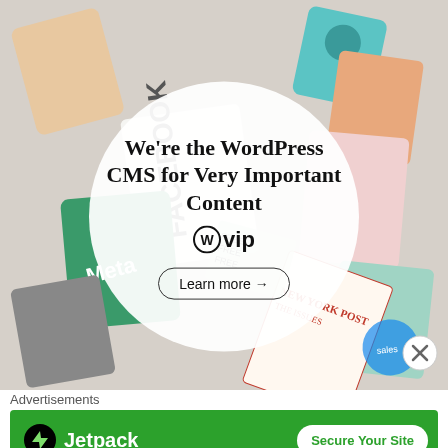[Figure (illustration): WordPress VIP advertisement banner showing scattered magazine/book covers in a collage background (Meta, Facebook, New York Post visible) with a white circle overlay containing bold serif text 'We're the WordPress CMS for Very Important Content' with WordPress VIP logo and 'Learn more' button]
Advertisements
[Figure (illustration): Jetpack advertisement banner on green background with Jetpack logo on left and 'Secure Your Site' button on right]